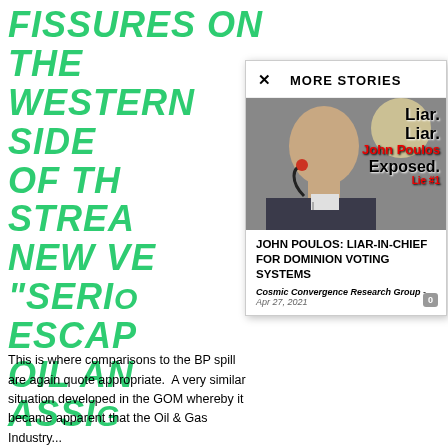FISSURES ON THE WESTERN SIDE OF TH... STREA... NEW VE... "SERIO... ESCAPE... OIL AN... ASSIG...
MORE STORIES
[Figure (photo): Photo of a man at a microphone with overlay text: Liar. Liar. John Poulos Exposed. Lie #1]
JOHN POULOS: LIAR-IN-CHIEF FOR DOMINION VOTING SYSTEMS
Cosmic Convergence Research Group - Apr 27, 2021
This is where comparisons to the BP spill are again quote appropriate. A very similar situation developed in the GOM whereby it became apparent that the Oil & Gas Industry...